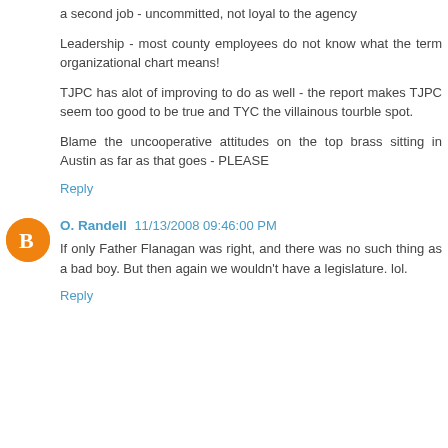a second job - uncommitted, not loyal to the agency
Leadership - most county employees do not know what the term organizational chart means!
TJPC has alot of improving to do as well - the report makes TJPC seem too good to be true and TYC the villainous tourble spot.
Blame the uncooperative attitudes on the top brass sitting in Austin as far as that goes - PLEASE
Reply
O. Randell  11/13/2008 09:46:00 PM
If only Father Flanagan was right, and there was no such thing as a bad boy. But then again we wouldn't have a legislature. lol.
Reply